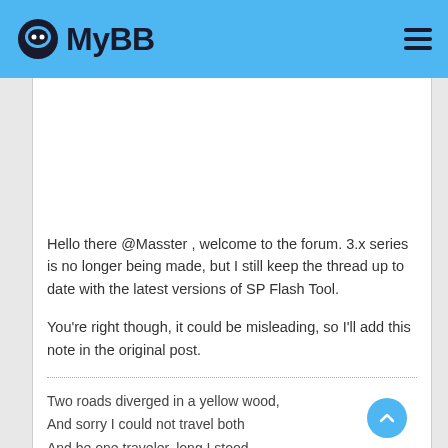MyBB
Hello there @Masster , welcome to the forum. 3.x series is no longer being made, but I still keep the thread up to date with the latest versions of SP Flash Tool.
You're right though, it could be misleading, so I'll add this note in the original post.
Two roads diverged in a yellow wood,
And sorry I could not travel both
And be one traveler, long I stood